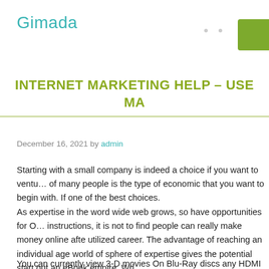Gimada
INTERNET MARKETING HELP – USE MA…
December 16, 2021 by admin
Starting with a small company is indeed a choice if you want to ventu… of many people is the type of economic that you want to begin with. If one of the best choices.
As expertise in the word wide web grows, so have opportunities for O… instructions, it is not to find people can really make money online afte utilized career. The advantage of reaching an individual age world of sphere of expertise gives the potential start out an eBook empire. Wri
You can currently view 3-D movies On Blu-Ray discs any HDMI vario… advances in home 3-D TV many cable providers are coming up with t